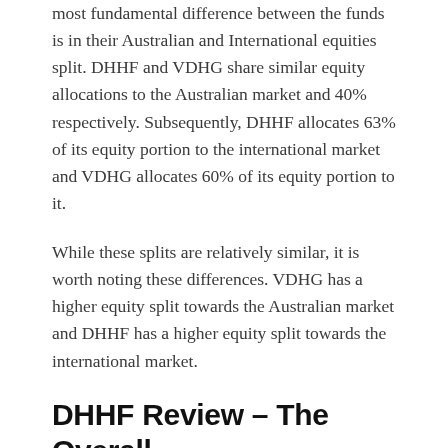most fundamental difference between the funds is in their Australian and International equities split. DHHF and VDHG share similar equity allocations to the Australian market and 40% respectively. Subsequently, DHHF allocates 63% of its equity portion to the international market and VDHG allocates 60% of its equity portion to it.
While these splits are relatively similar, it is worth noting these differences. VDHG has a higher equity split towards the Australian market and DHHF has a higher equity split towards the international market.
DHHF Review – The Overall Verdict